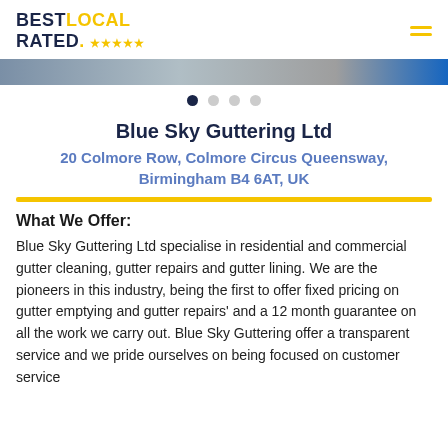BEST LOCAL RATED. *****
[Figure (photo): Hero image strip showing guttering/roofing work]
Blue Sky Guttering Ltd
20 Colmore Row, Colmore Circus Queensway, Birmingham B4 6AT, UK
What We Offer:
Blue Sky Guttering Ltd specialise in residential and commercial gutter cleaning, gutter repairs and gutter lining. We are the pioneers in this industry, being the first to offer fixed pricing on gutter emptying and gutter repairs' and a 12 month guarantee on all the work we carry out. Blue Sky Guttering offer a transparent service and we pride ourselves on being focused on customer service and have built and maintaining a strong reputation